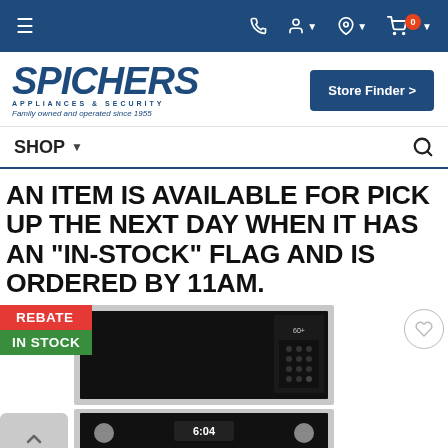Navigation bar with hamburger menu, phone, account, location, and cart icons
[Figure (logo): Spichers Appliances & Security logo with tagline 'Family owned and operated since 1955' and Store Finder button]
SHOP
AN ITEM IS AVAILABLE FOR PICK UP THE NEXT DAY WHEN IT HAS AN "IN-STOCK" FLAG AND IS ORDERED BY 11AM.
[Figure (photo): Product image of a stainless steel built-in microwave and oven combination with REBATE and IN STOCK badges]